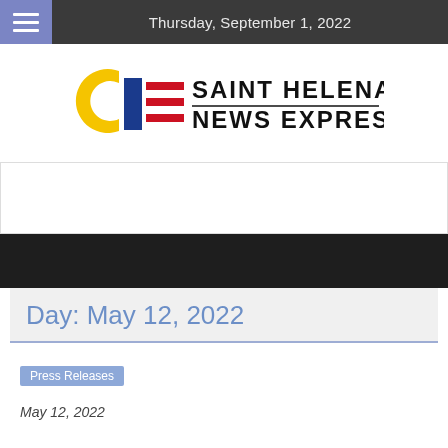Thursday, September 1, 2022
[Figure (logo): Saint Helena News Express logo with stylized SHE letters in yellow, blue, and red, with red horizontal rule lines and text 'SAINT HELENA NEWS EXPRESS']
[Figure (other): Advertisement banner area (empty)]
Day: May 12, 2022
Press Releases
May 12, 2022